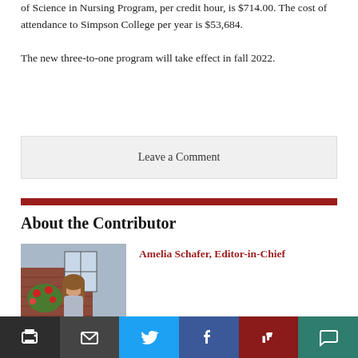of Science in Nursing Program, per credit hour, is $714.00. The cost of attendance to Simpson College per year is $53,684.
The new three-to-one program will take effect in fall 2022.
Leave a Comment
About the Contributor
[Figure (photo): Photo of Amelia Schafer, Editor-in-Chief, a young woman with long brown hair standing outdoors near a brick building with flowers.]
Amelia Schafer, Editor-in-Chief